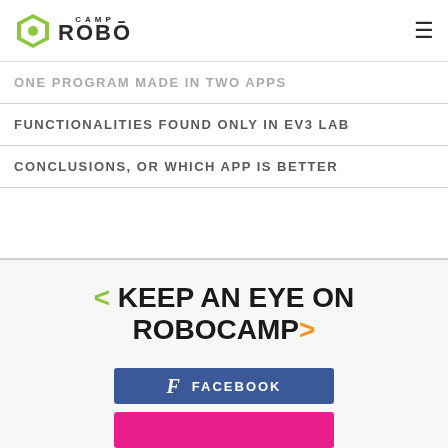Camp ROBO
ONE PROGRAM MADE IN TWO APPS
FUNCTIONALITIES FOUND ONLY IN EV3 LAB
CONCLUSIONS, OR WHICH APP IS BETTER
< KEEP AN EYE ON ROBOCAMP >
[Figure (other): Facebook button with f icon and FACEBOOK label in blue]
[Figure (other): Pink/magenta button (partially visible)]